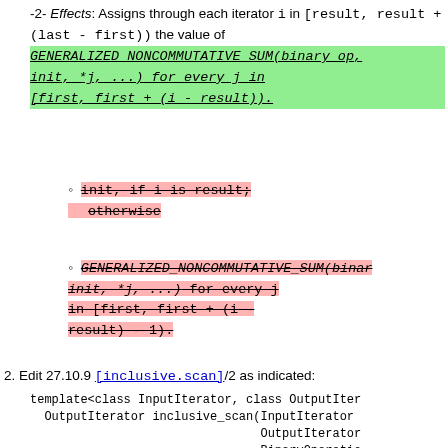-2- Effects: Assigns through each iterator i in [result, result + (last - first)) the value of GENERALIZED NONCOMMUTATIVE SUM(binary_op, init, *j, ...) for every j in [first, first + (i - result)).
init, if i is result; otherwise
GENERALIZED_NONCOMMUTATIVE_SUM(binary_op, init, *j, ...) for every j in [first, first + (i - result) - 1).
2. Edit 27.10.9 [inclusive.scan]/2 as indicated:
template<class InputIterator, class OutputIter...
  OutputIterator inclusive_scan(InputIterator ...
                                OutputIterator
                                BinaryOperatio
template<class InputIterator, class OutputIter...
  OutputIterator inclusive_scan(InputIterator ...
                                OutputIterator
                                BinaryOperatio
-2- Effects: Assigns through each